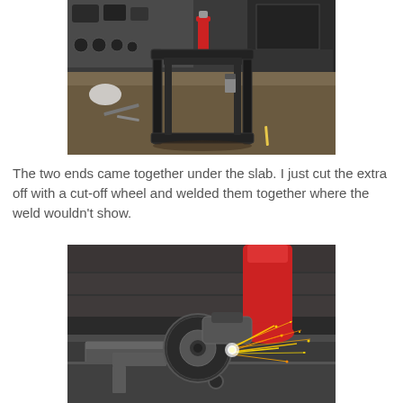[Figure (photo): A metal frame structure (rectangular/chair-like shape) made of welded steel tubing, sitting on a workshop table with tools and equipment visible in the background.]
The two ends came together under the slab. I just cut the extra off with a cut-off wheel and welded them together where the weld wouldn't show.
[Figure (photo): A cut-off wheel grinder cutting metal with sparks flying, positioned next to a red fire extinguisher in a workshop setting.]